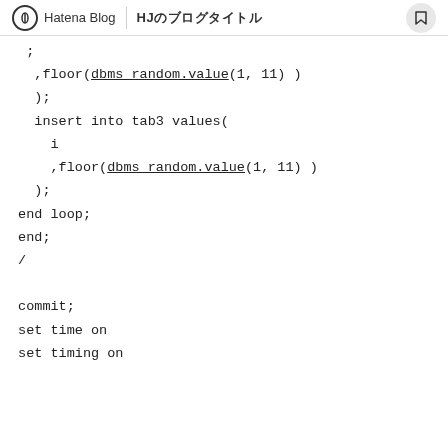Hatena Blog | HJのブログタイトル
,floor(dbms_random.value(1, 11) )
  );
  insert into tab3 values(
    i
    ,floor(dbms_random.value(1, 11) )
  );
end loop;
end;
/

commit;
set time on
set timing on